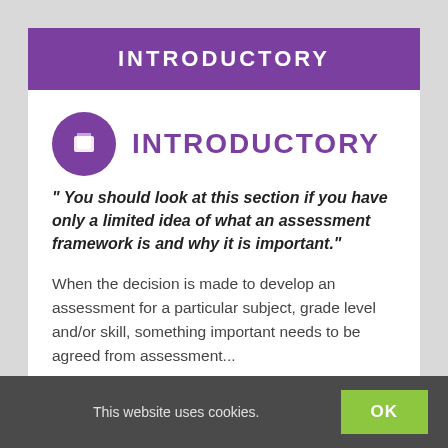INTRODUCTORY
INTRODUCTORY
" You should look at this section if you have only a limited idea of what an assessment framework is and why it is important."
When the decision is made to develop an assessment for a particular subject, grade level and/or skill, something important needs to be agreed from assessment...
This website uses cookies. OK